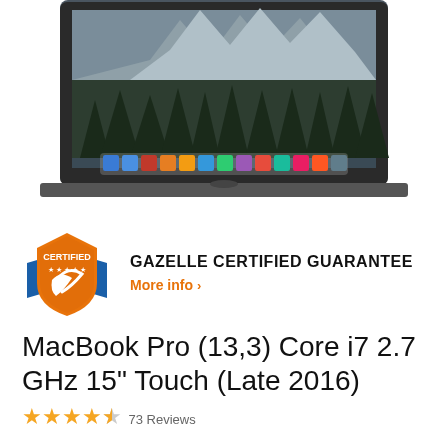[Figure (photo): MacBook Pro laptop shown from the front with screen displaying macOS desktop with mountain/forest wallpaper and dock at the bottom]
[Figure (logo): Gazelle Certified shield badge logo — orange and blue shield with CERTIFIED text and swoosh design]
GAZELLE CERTIFIED GUARANTEE
More info >
MacBook Pro (13,3) Core i7 2.7 GHz 15" Touch (Late 2016)
★★★★☆ 73 Reviews